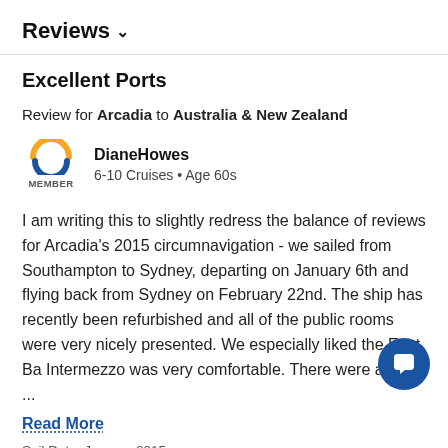Reviews ∨
Excellent Ports
Review for Arcadia to Australia & New Zealand
DianeHowes
6-10 Cruises • Age 60s
I am writing this to slightly redress the balance of reviews for Arcadia's 2015 circumnavigation - we sailed from Southampton to Sydney, departing on January 6th and flying back from Sydney on February 22nd. The ship has recently been refurbished and all of the public rooms were very nicely presented. We especially liked the East Ba... Intermezzo was very comfortable. There were a lot of ...
Read More
Sail Date: January 2015